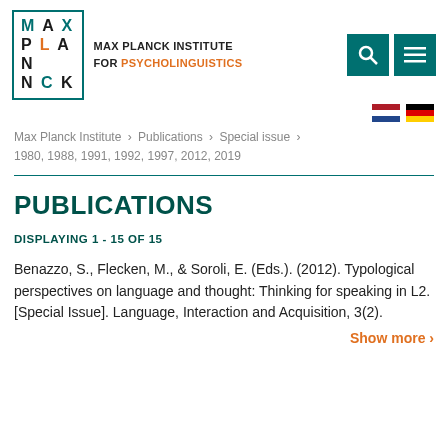MAX PLANCK INSTITUTE FOR PSYCHOLINGUISTICS
Max Planck Institute › Publications › Special issue › 1980, 1988, 1991, 1992, 1997, 2012, 2019
PUBLICATIONS
DISPLAYING 1 - 15 OF 15
Benazzo, S., Flecken, M., & Soroli, E. (Eds.). (2012). Typological perspectives on language and thought: Thinking for speaking in L2. [Special Issue]. Language, Interaction and Acquisition, 3(2).
Show more